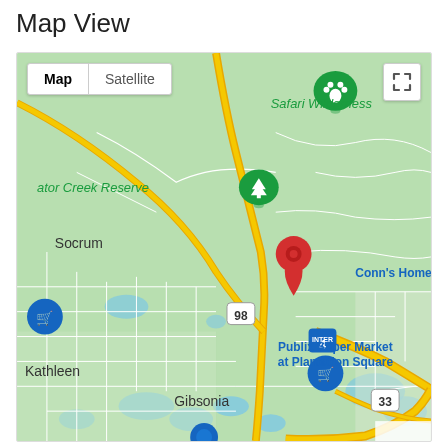Map View
[Figure (map): Google Maps view showing an area near Kathleen/Gibsonia, Florida. Features include Safari Wilderness (green paw marker), Gator Creek Reserve (green tree marker), Socrum, Kathleen, Gibsonia labels. A red location pin is placed near US Route 98. Also shows Publix Super Market at Plantation Square (blue cart marker), Conn's HomeR (partial), Interstate 4, and Route 33. Map/Satellite toggle and fullscreen button visible.]